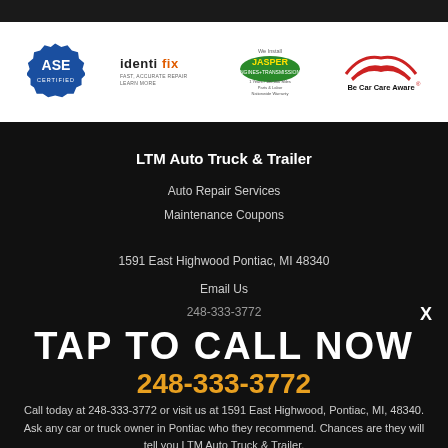[Figure (logo): ASE Certified logo - blue gear/badge shape with ASE text]
[Figure (logo): IDENTIFIX logo - black text with tagline]
[Figure (logo): Jasper Engines & Transmissions logo - green and yellow]
[Figure (logo): Be Car Care Aware logo - red car silhouette]
LTM Auto Truck & Trailer
Auto Repair Services
Maintenance Coupons
1591 East Highwood Pontiac, MI 48340
Email Us
248-333-3772
TAP TO CALL NOW
248-333-3772
Call today at 248-333-3772 or visit us at 1591 East Highwood, Pontiac, MI, 48340. Ask any car or truck owner in Pontiac who they recommend. Chances are they will tell you LTM Auto Truck & Trailer.